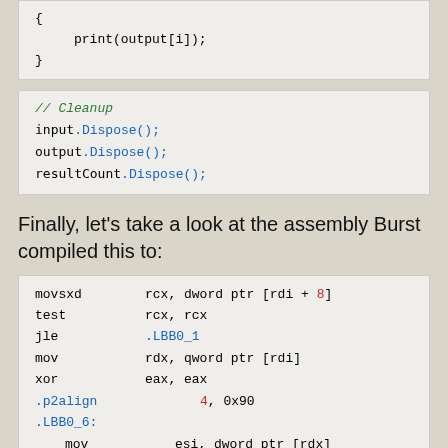{
    print(output[i]);
}
// Cleanup
input.Dispose();
output.Dispose();
resultCount.Dispose();
Finally, let's take a look at the assembly Burst compiled this to:
movsxd  rcx, dword ptr [rdi + 8]
test    rcx, rcx
jle     .LBB0_1
mov     rdx, qword ptr [rdi]
xor     eax, eax
.p2align        4, 0x90
.LBB0_6:
mov     esi, dword ptr [rdx]
test    sil, 1